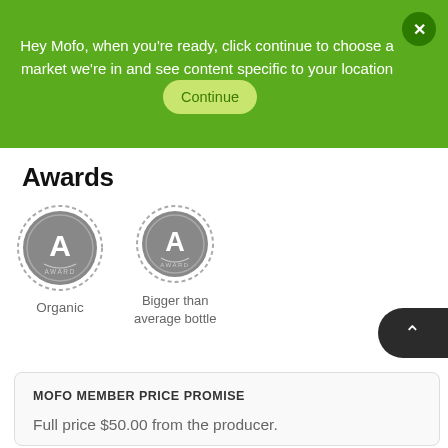Hey Mofo, when you're ready, click continue to choose a market we're in and see content specific to your location Continue
Awards
[Figure (illustration): Two circular award badges, both grey with a stylized letter A and the word AWARD. First badge labeled 'Organic', second labeled 'Bigger than average bottle'.]
Organic
Bigger than average bottle
MOFO MEMBER PRICE PROMISE
Full price $50.00 from the producer.
Mofo member price is always best price, 100% Happiness Guaranteed. If you find a